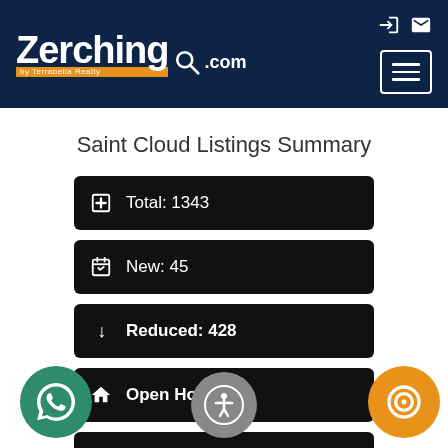[Figure (logo): Zerching.com by Terrabella Realty logo on dark navy header with hamburger menu button and icons]
Saint Cloud Listings Summary
Total: 1343
New: 45
Reduced: 428
Open House